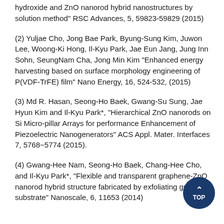hydroxide and ZnO nanorod hybrid nanostructures by solution method" RSC Advances, 5, 59823-59829 (2015)
(2) Yuljae Cho, Jong Bae Park, Byung-Sung Kim, Juwon Lee, Woong-Ki Hong, Il-Kyu Park, Jae Eun Jang, Jung Inn Sohn, SeungNam Cha, Jong Min Kim "Enhanced energy harvesting based on surface morphology engineering of P(VDF-TrFE) film" Nano Energy, 16, 524-532, (2015)
(3) Md R. Hasan, Seong-Ho Baek, Gwang-Su Sung, Jae Hyun Kim and Il-Kyu Park*, "Hierarchical ZnO nanorods on Si Micro-pillar Arrays for performance Enhancement of Piezoelectric Nanogenerators" ACS Appl. Mater. Interfaces 7, 5768−5774 (2015).
(4) Gwang-Hee Nam, Seong-Ho Baek, Chang-Hee Cho, and Il-Kyu Park*, "Flexible and transparent graphene-ZnO nanorod hybrid structure fabricated by exfoliating graphene substrate" Nanoscale, 6, 11653 (2014)